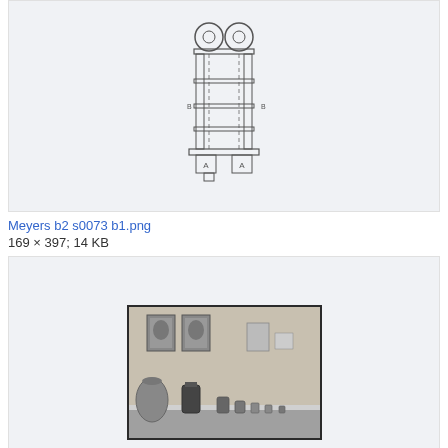[Figure (engineering-diagram): Engineering schematic of a tall vertical machine with two circular wheels at top, vertical columns, and base platforms labeled A]
Meyers b2 s0073 b1.png
169 × 397; 14 KB
[Figure (photo): Black and white photo of museum exhibition display case with portraits on wall and various objects/jars on shelves]
Museum objects from exhibition-various.1972-3 Wellcom...
1,711 × 1,026; 582 KB